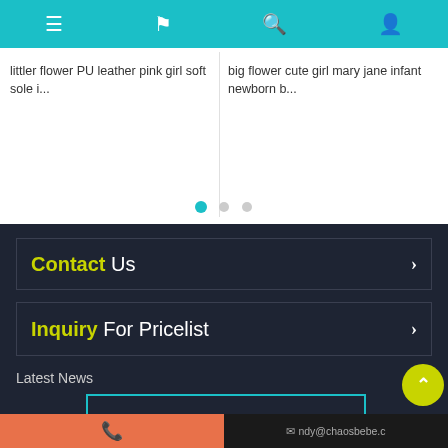Navigation icons: menu, flag, search, user
littler flower PU leather pink girl soft sole i...
big flower cute girl mary jane infant newborn b...
[Figure (other): Dot pagination indicators: three dots, first active (teal), two inactive (gray)]
Contact Us
Inquiry For Pricelist
Latest News
[Figure (other): News article thumbnail image placeholder with teal border]
How TO Manufacture Baby Kids Children Shoes
Below is the manufacturing processs outline for children shoes. Step 1: Designing and Pattern Cutting According to the selected design, the patterns are prepared, checked for accuracy by sample designers, then
Phone icon | ndy@chaosbebe.co